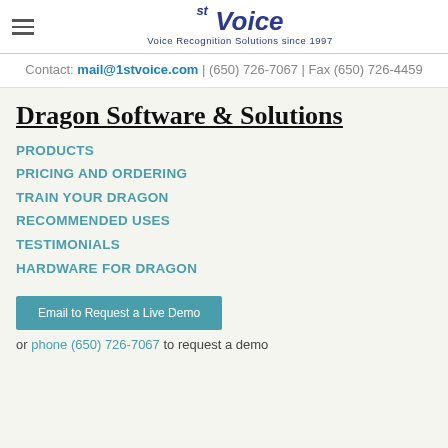1st Voice — Voice Recognition Solutions since 1997
Contact: mail@1stvoice.com | (650) 726-7067 | Fax (650) 726-4459
Dragon Software & Solutions
PRODUCTS
PRICING AND ORDERING
TRAIN YOUR DRAGON
RECOMMENDED USES
TESTIMONIALS
HARDWARE FOR DRAGON
Email to Request a Live Demo
or phone (650) 726-7067 to request a demo